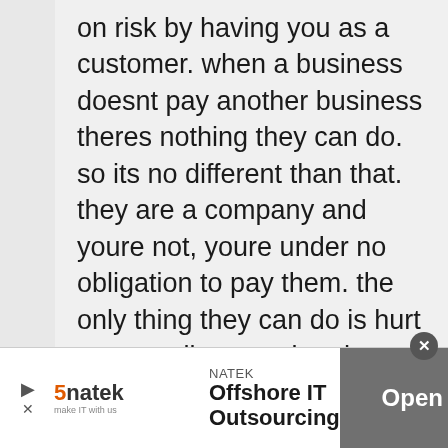on risk by having you as a customer. when a business doesnt pay another business theres nothing they can do. so its no different than that. they are a company and youre not, youre under no obligation to pay them. the only thing they can do is hurt your credit score, but that score will bounce back anyway at some point in the future.
[Figure (screenshot): Advertisement bar for NATEK Offshore IT Outsourcing with an Open button]